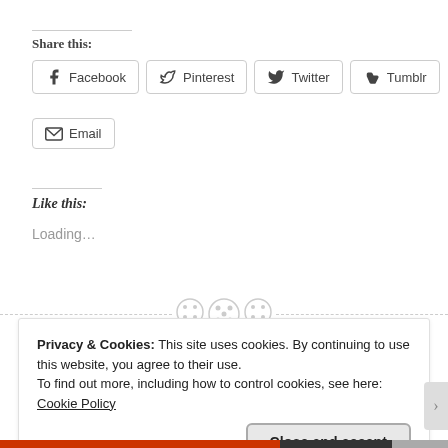Share this:
Facebook
Pinterest
Twitter
Tumblr
Email
Like this:
Loading...
Privacy & Cookies: This site uses cookies. By continuing to use this website, you agree to their use.
To find out more, including how to control cookies, see here: Cookie Policy
Close and accept